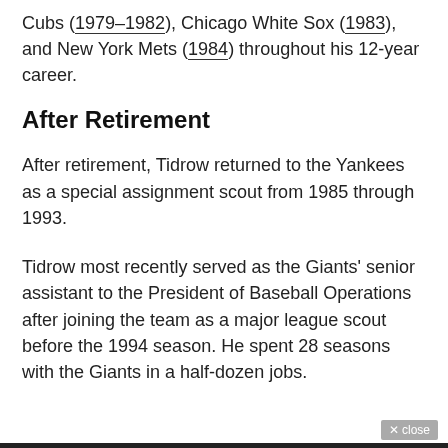Cubs (1979–1982), Chicago White Sox (1983), and New York Mets (1984) throughout his 12-year career.
After Retirement
After retirement, Tidrow returned to the Yankees as a special assignment scout from 1985 through 1993.
Tidrow most recently served as the Giants' senior assistant to the President of Baseball Operations after joining the team as a major league scout before the 1994 season. He spent 28 seasons with the Giants in a half-dozen jobs.